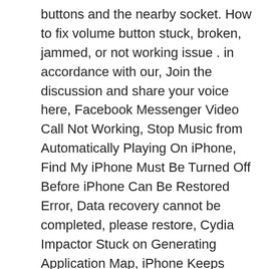buttons and the nearby socket. How to fix volume button stuck, broken, jammed, or not working issue . in accordance with our, Join the discussion and share your voice here, Facebook Messenger Video Call Not Working, Stop Music from Automatically Playing On iPhone, Find My iPhone Must Be Turned Off Before iPhone Can Be Restored Error, Data recovery cannot be completed, please restore, Cydia Impactor Stuck on Generating Application Map, iPhone Keeps Connecting and Disconnecting from Mac, Tip 2: Clean Charge Port and Headphone Jack, Tip 5: Repair iOS to Fix Volume Button Stuck without Data Loss, Tip 6: Restore iPhone to Factory Settings (Data Loss), How to Fix iPhone 8/8 Plus Call Volume Low, How to Fix No Sound Issues on iPhone After iOS 14 Update, Simple Fixes for Phone Calls with no Sound on iOS 14. The volume icon on my laptop's taskbar has stopped working. iPhone white/black screen of death or won't turn on issues can be solved easily.